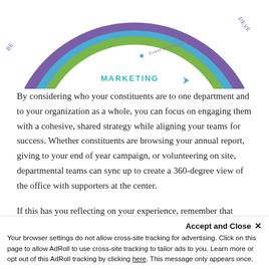[Figure (infographic): Partial view of a circular/ring infographic diagram with colored arcs in purple, blue, and green. Text visible includes 'Event Information', 'MARKETING' in teal/cyan, and 'DEVE' partially cut off on the right edge. A small arrow/cursor icon appears near the bottom of the diagram near 'MARKETING'.]
By considering who your constituents are to one department and to your organization as a whole, you can focus on engaging them with a cohesive, shared strategy while aligning your teams for success. Whether constituents are browsing your annual report, giving to your end of year campaign, or volunteering on site, departmental teams can sync up to create a 360-degree view of the office with supporters at the center.
If this has you reflecting on your experience, remember that there are tangible tips you can use to connect your organization. Though there are many, you hi...
Accept and Close ✕
Your browser settings do not allow cross-site tracking for advertising. Click on this page to allow AdRoll to use cross-site tracking to tailor ads to you. Learn more or opt out of this AdRoll tracking by clicking here. This message only appears once.